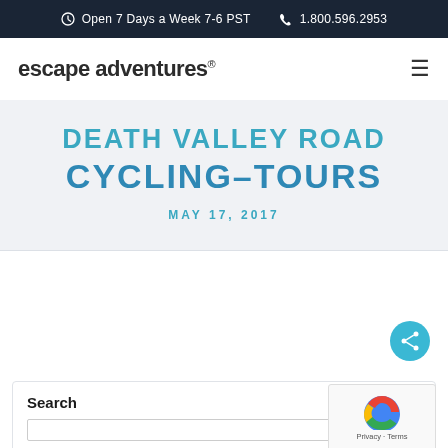Open 7 Days a Week 7-6 PST   1.800.596.2953
escape adventures®
DEATH VALLEY ROAD CYCLING-TOURS
MAY 17, 2017
Search